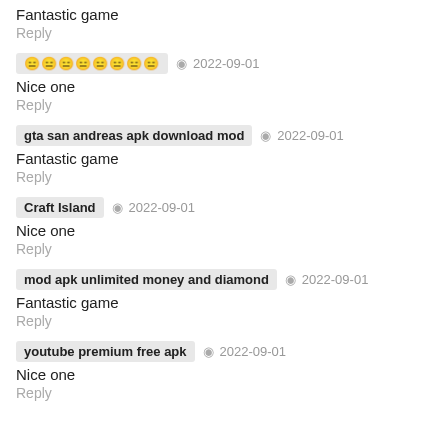Fantastic game
Reply
🀄🀄🀄🀄🀄🀄🀄🀄  •  2022-09-01
Nice one
Reply
gta san andreas apk download mod  •  2022-09-01
Fantastic game
Reply
Craft Island  •  2022-09-01
Nice one
Reply
mod apk unlimited money and diamond  •  2022-09-01
Fantastic game
Reply
youtube premium free apk  •  2022-09-01
Nice one
Reply